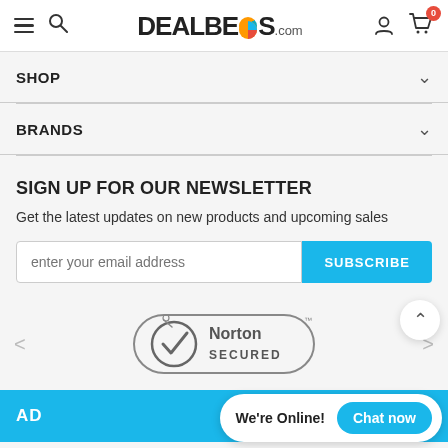DEALBE▪S.com
SHOP
BRANDS
SIGN UP FOR OUR NEWSLETTER
Get the latest updates on new products and upcoming sales
enter your email address
[Figure (logo): Norton Secured badge with checkmark logo]
AD
We're Online! Chat now